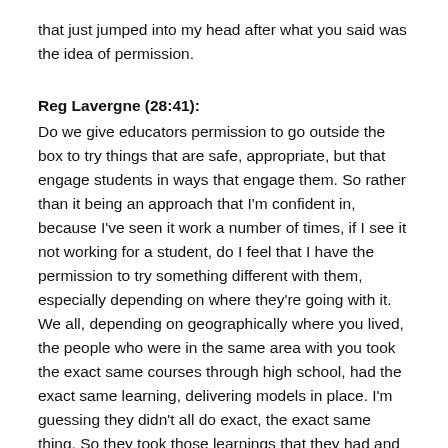that just jumped into my head after what you said was the idea of permission.
Reg Lavergne (28:41):
Do we give educators permission to go outside the box to try things that are safe, appropriate, but that engage students in ways that engage them. So rather than it being an approach that I'm confident in, because I've seen it work a number of times, if I see it not working for a student, do I feel that I have the permission to try something different with them, especially depending on where they're going with it. We all, depending on geographically where you lived, the people who were in the same area with you took the exact same courses through high school, had the exact same learning, delivering models in place. I'm guessing they didn't all do exact, the exact same thing. So they took those learnings that they had and have tweaked them to has,